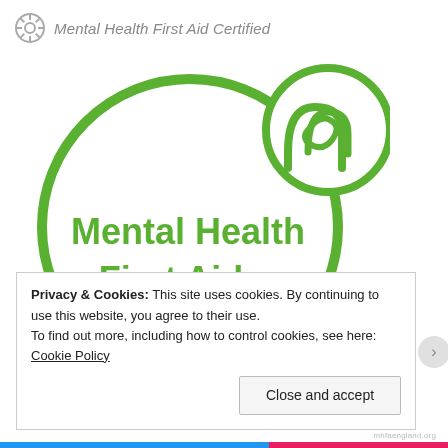Mental Health First Aid Certified
[Figure (logo): Mental Health First Aider badge — green circle outline with MHFA England logo (interlocking circles icon) at top right, and bold green text 'Mental Health First Aider' in the center of the circle]
Privacy & Cookies: This site uses cookies. By continuing to use this website, you agree to their use.
To find out more, including how to control cookies, see here: Cookie Policy
Close and accept